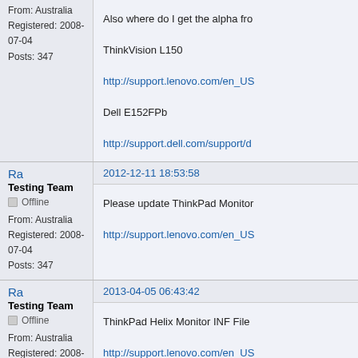From: Australia
Registered: 2008-07-04
Posts: 347
Also where do I get the alpha fro
ThinkVision L150
http://support.lenovo.com/en_US
Dell E152FPb
http://support.dell.com/support/d
Ra
Testing Team
Offline
From: Australia
Registered: 2008-07-04
Posts: 347
2012-12-11 18:53:58
Please update ThinkPad Monitor
http://support.lenovo.com/en_US
Ra
Testing Team
Offline
From: Australia
Registered: 2008-07-04
Posts: 347
2013-04-05 06:43:42
ThinkPad Helix Monitor INF File
http://support.lenovo.com/en_US